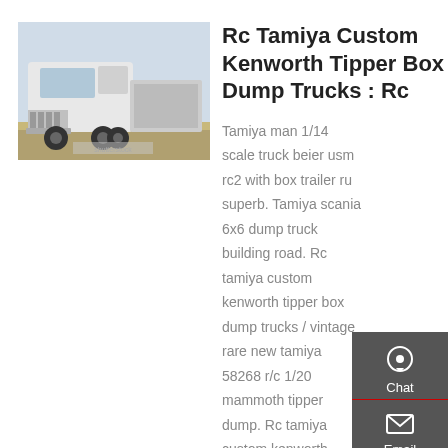[Figure (photo): Photo of a white Kenworth semi-truck / dump truck cab on a road with other trucks in background]
Rc Tamiya Custom Kenworth Tipper Box Dump Trucks : Rc
Tamiya man 1/14 scale truck beier usm rc2 with box trailer ru superb. Tamiya scania 6x6 dump truck building road. Rc tamiya custom kenworth tipper box dump trucks / vintage rare new tamiya 58268 r/c 1/20 mammoth tipper dump. Rc tamiya custom kenworth tipper box dump trucks